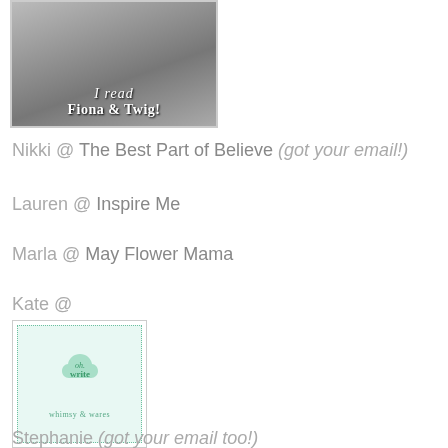[Figure (illustration): Black and white image of a Victorian-style woman reading, with text overlay 'I read Fiona & Twig!']
Nikki @ The Best Part of Believe (got your email!)
Lauren @ Inspire Me
Marla @ May Flower Mama
Kate @
[Figure (logo): oh.write whimsy & wares logo — teal/mint cloud shape with green text on light green background with dotted border]
Stephanie (got your email too!)